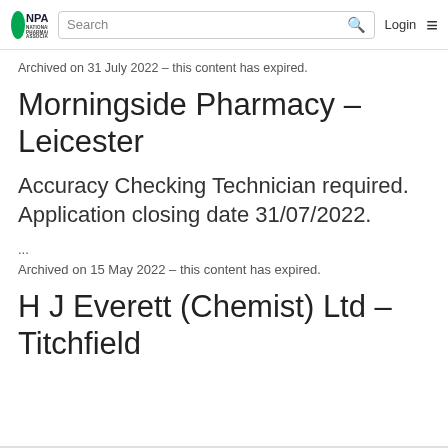NPA National Pharmacy Association | Search | Login
Archived on 31 July 2022 – this content has expired.
Morningside Pharmacy – Leicester
Accuracy Checking Technician required. Application closing date 31/07/2022.
...
Archived on 15 May 2022 – this content has expired.
H J Everett (Chemist) Ltd – Titchfield